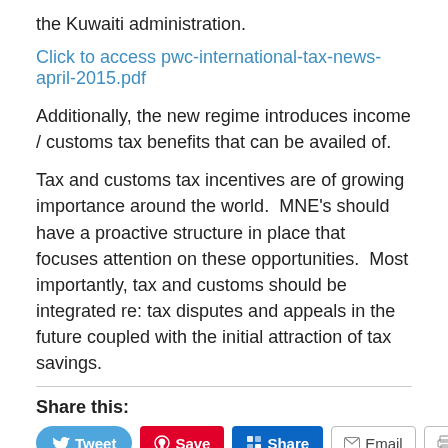the Kuwaiti administration.
Click to access pwc-international-tax-news-april-2015.pdf
Additionally, the new regime introduces income / customs tax benefits that can be availed of.
Tax and customs tax incentives are of growing importance around the world.  MNE's should have a proactive structure in place that focuses attention on these opportunities.  Most importantly, tax and customs should be integrated re: tax disputes and appeals in the future coupled with the initial attraction of tax savings.
Share this:
Tweet  Save  Share  Email  Print